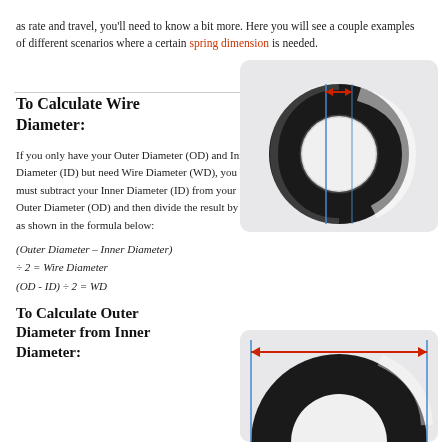as rate and travel, you'll need to know a bit more. Here you will see a couple examples of different scenarios where a certain spring dimension is needed.
To Calculate Wire Diameter:
If you only have your Outer Diameter (OD) and Inner Diameter (ID) but need Wire Diameter (WD), you must subtract your Inner Diameter (ID) from your Outer Diameter (OD) and then divide the result by two as shown in the formula below:
[Figure (illustration): Diagram of a coil spring cross-section (torus shape) viewed from above, with a red double-headed arrow indicating wire diameter at the top, and a blue vertical line showing the measurement.]
To Calculate Outer Diameter from Inner Diameter:
[Figure (illustration): Partial diagram of a coil spring cross-section showing outer diameter measurement with a red double-headed arrow spanning the full outer width and blue vertical lines at the edges.]